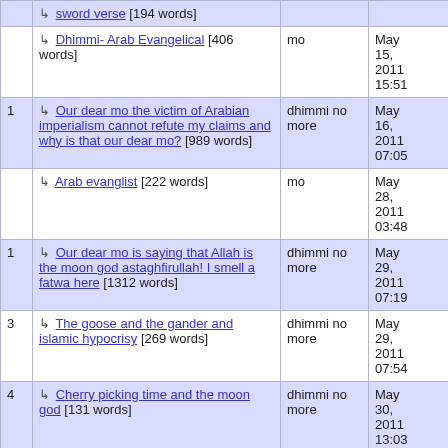|  | Title | Author | Date |
| --- | --- | --- | --- |
|  | ↳ sword verse [194 words] |  |  |
|  | ↳ Dhimmi- Arab Evangelical [406 words] | mo | May 15, 2011 15:51 |
| 1 | ↳ Our dear mo the victim of Arabian imperialism cannot refute my claims and why is that our dear mo? [989 words] | dhimmi no more | May 16, 2011 07:05 |
|  | ↳ Arab evanglist [222 words] | mo | May 28, 2011 03:48 |
| 1 | ↳ Our dear mo is saying that Allah is the moon god astaghfirullah! I smell a fatwa here [1312 words] | dhimmi no more | May 29, 2011 07:19 |
| 3 | ↳ The goose and the gander and islamic hypocrisy [269 words] | dhimmi no more | May 29, 2011 07:54 |
| 4 | ↳ Cherry picking time and the moon god [131 words] | dhimmi no more | May 30, 2011 13:03 |